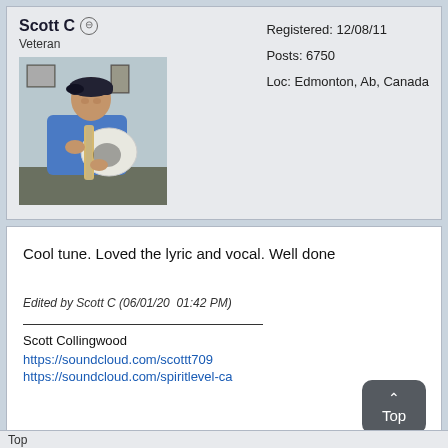Scott C
Veteran
[Figure (photo): Avatar photo of a man wearing a dark baseball cap and blue shirt playing a white electric guitar indoors]
Registered: 12/08/11
Posts: 6750
Loc: Edmonton, Ab, Canada
Cool tune. Loved the lyric and vocal. Well done
Edited by Scott C (06/01/20  01:42 PM)
Scott Collingwood
https://soundcloud.com/scottt709
https://soundcloud.com/spiritlevel-ca
Top